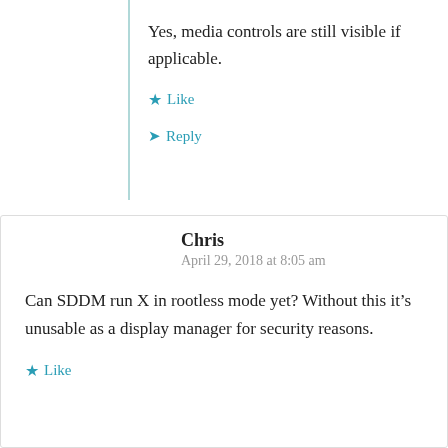Yes, media controls are still visible if applicable.
Like
Reply
Chris
April 29, 2018 at 8:05 am
Can SDDM run X in rootless mode yet? Without this it's unusable as a display manager for security reasons.
Like